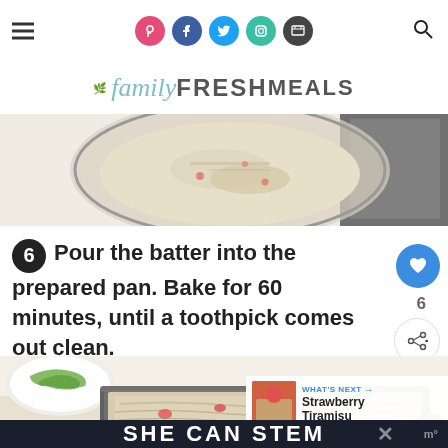[Figure (screenshot): Website header with hamburger menu, social media icons (Pinterest, Facebook, Twitter, Instagram, other), and search icon]
familyFRESHMEALS
[Figure (photo): Top-down view of oatmeal batter in a glass mixing bowl next to a dark baking pan on a white surface]
Pour the batter into the prepared pan. Bake for 60 minutes, until a toothpick comes out clean.
[Figure (photo): Strawberry oat batter in a dark loaf pan, with a plate of strawberries visible in the background]
WHAT'S NEXT → Strawberry Tiramisu
SHE CAN STEM